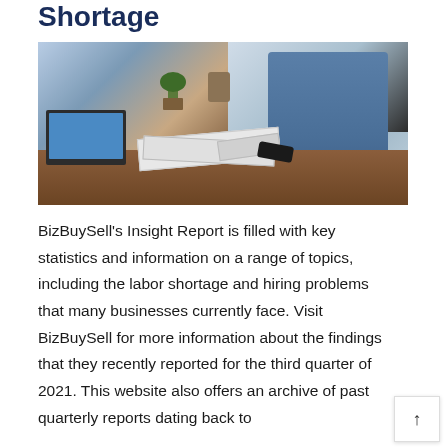Shortage
[Figure (photo): Two people at a wooden desk with a laptop, papers with charts, a pink piggy bank, a coffee cup, a plant, and a smartphone. A person in a blue-grey top is visible on the right side.]
BizBuySell's Insight Report is filled with key statistics and information on a range of topics, including the labor shortage and hiring problems that many businesses currently face. Visit BizBuySell for more information about the findings that they recently reported for the third quarter of 2021. This website also offers an archive of past quarterly reports dating back to